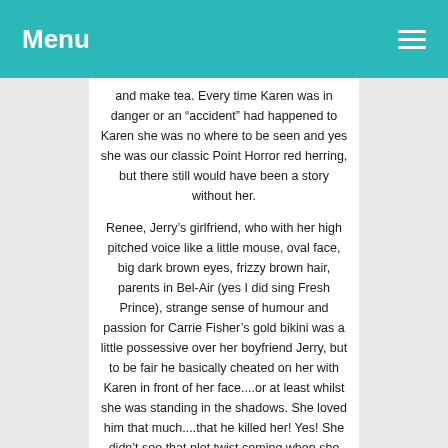Menu
and make tea.  Every time Karen was in danger or an “accident” had happened to Karen she was no where to be seen and yes she was our classic Point Horror red herring, but there still would have been a story without her.
Renee, Jerry’s girlfriend, who with her high pitched voice like a little mouse, oval face, big dark brown eyes, frizzy brown hair, parents in Bel-Air (yes I did sing Fresh Prince), strange sense of humour and passion for Carrie Fisher’s gold bikini was a little possessive over her boyfriend Jerry, but to be fair he basically cheated on her with Karen in front of her face....or at least whilst she was standing in the shadows.  She loved him that much....that he killed her!  Yes!  She didn’t see that plot twist coming when she signed up